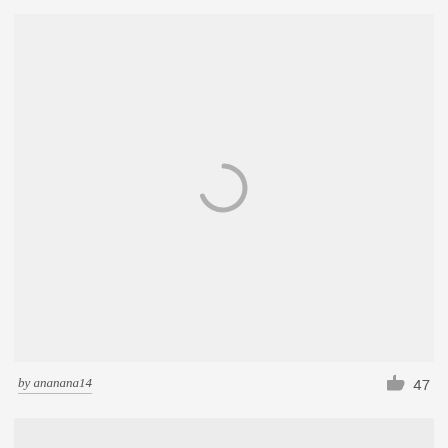[Figure (illustration): Large light gray placeholder/loading area with a spinning loader icon (arc/semicircle) centered in the upper portion of the content area.]
by ananana14
47